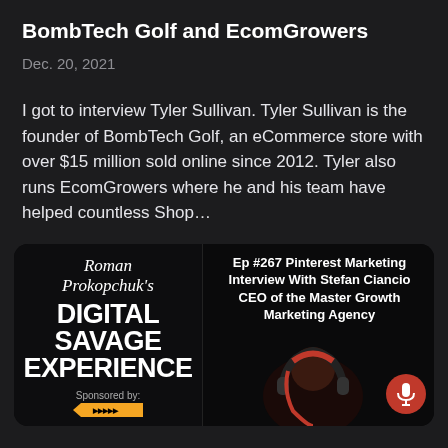BombTech Golf and EcomGrowers
Dec. 20, 2021
I got to interview Tyler Sullivan. Tyler Sullivan is the founder of BombTech Golf, an eCommerce store with over $15 million sold online since 2012. Tyler also runs EcomGrowers where he and his team have helped countless Shop…
[Figure (infographic): Podcast episode card for Roman Prokopchuk's Digital Savage Experience, Episode #267 Pinterest Marketing Interview With Stefan Ciancio CEO of the Master Growth Marketing Agency. Features the show logo on the left with italic script text 'Roman Prokopchuk's' above bold 'DIGITAL SAVAGE EXPERIENCE', sponsored by section at bottom. Right side shows episode title text and a person wearing headphones with a red microphone icon circle.]